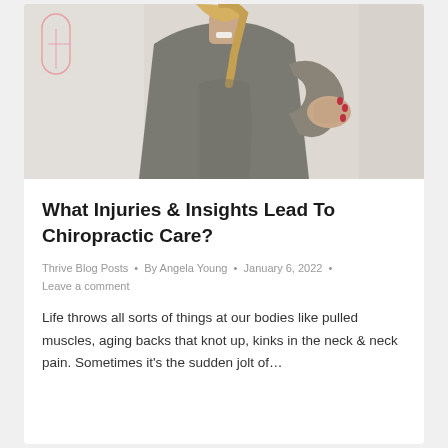[Figure (photo): Woman seen from behind reaching over her shoulder to touch her upper back/neck area, wearing a grey long-sleeve shirt, with blonde hair in a ponytail. Medical anatomy poster visible in background.]
What Injuries & Insights Lead To Chiropractic Care?
Thrive Blog Posts • By Angela Young • January 6, 2022 • Leave a comment
Life throws all sorts of things at our bodies like pulled muscles, aging backs that knot up, kinks in the neck & neck pain. Sometimes it's the sudden jolt of…